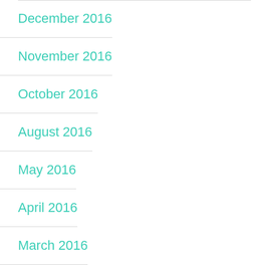December 2016
November 2016
October 2016
August 2016
May 2016
April 2016
March 2016